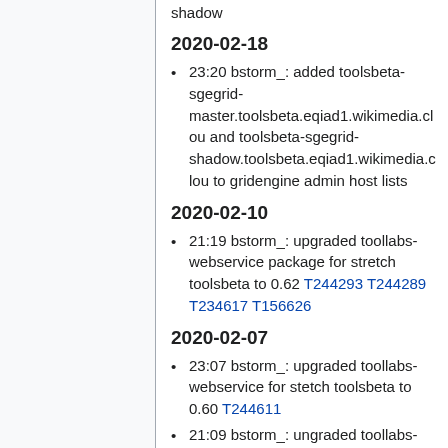shadow
2020-02-18
23:20 bstorm_: added toolsbeta-sgegrid-master.toolsbeta.eqiad1.wikimedia.cloud and toolsbeta-sgegrid-shadow.toolsbeta.eqiad1.wikimedia.cloud to gridengine admin host lists
2020-02-10
21:19 bstorm_: upgraded toollabs-webservice package for stretch toolsbeta to 0.62 T244293 T244289 T234617 T156626
2020-02-07
23:07 bstorm_: upgraded toollabs-webservice for stetch toolsbeta to 0.60 T244611
21:09 bstorm_: ungraded toollabs-